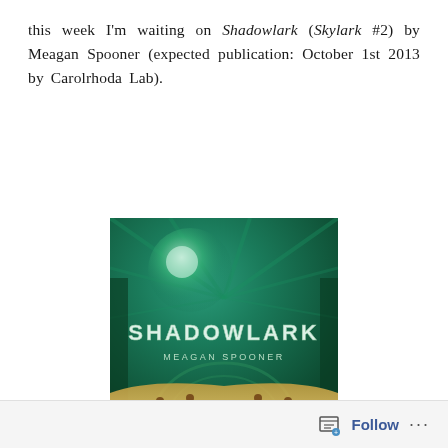this week I'm waiting on Shadowlark (Skylark #2) by Meagan Spooner (expected publication: October 1st 2013 by Carolrhoda Lab).
[Figure (illustration): Book cover of Shadowlark by Meagan Spooner. Green teal toned cover with mechanical/steampunk imagery, large title text SHADOWLARK in stylized font, author name MEAGAN SPOONER below, and at the bottom text reading BOOK TWO IN THE SKYLARK TRILOGY on a golden/tan riveted surface.]
Follow ···